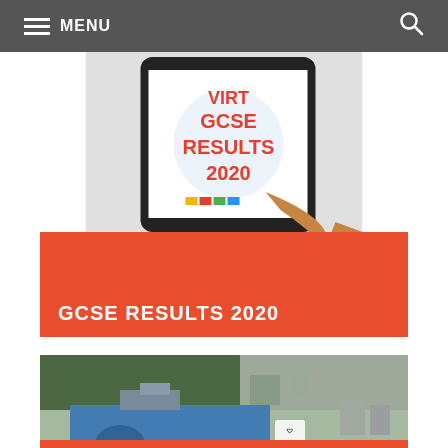MENU
[Figure (photo): A hand holding a tablet displaying text: VIRTUAL GCSE RESULTS 2020 in red letters on white background]
GCSE RESULTS 2020
[Figure (photo): Aerial view of Mounts Bay Academy school building, blue exterior, with Mounts Bay Academy logo and text visible]